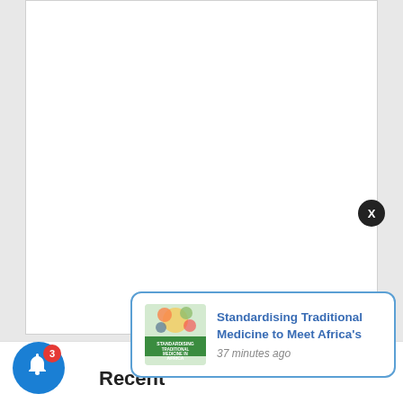[Figure (screenshot): White content card area (blank/empty content area of a webpage)]
Recent
[Figure (illustration): Blue circular notification bell button with red badge showing '3' unread notifications]
[Figure (illustration): Dark circular close button with X label, positioned at top-right of notification popup]
[Figure (screenshot): Notification popup with flower/herb image thumbnail and article title 'Standardising Traditional Medicine to Meet Africa's' with timestamp '37 minutes ago']